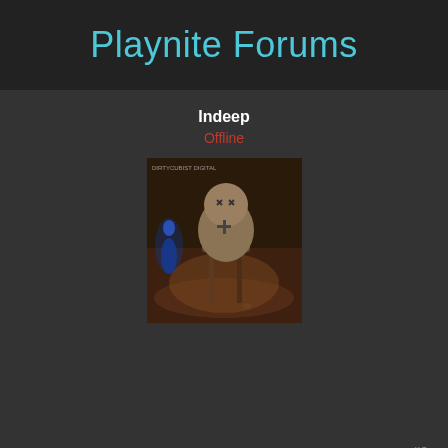Playnite Forums
Indeep
Offline
[Figure (photo): User avatar showing a surreal scene with a figure and a creature sitting on a stool in a dim room]
02-22-2021, 09:14 PM
#3
TobiGru Wrote: (01-22-2021, 07:42 AM) After a recent update of Origin games bought via Epic Games Launcher are not starting anymore. After a bit of research i could fix this problem by appending @epic to the play action.